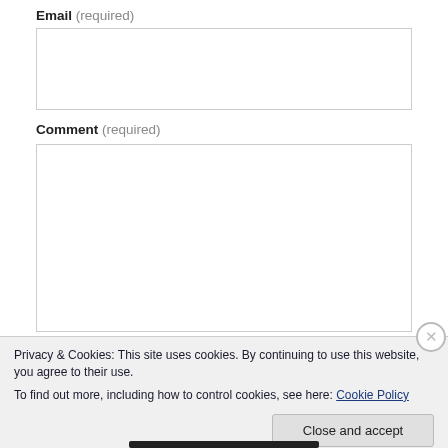Email (required)
Comment (required)
Privacy & Cookies: This site uses cookies. By continuing to use this website, you agree to their use.
To find out more, including how to control cookies, see here: Cookie Policy
Close and accept